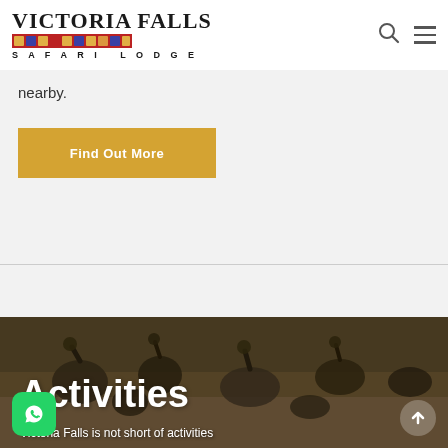[Figure (logo): Victoria Falls Safari Lodge logo with decorative bead pattern strip]
nearby.
Find Out More
[Figure (photo): Photo of vultures on the ground in African bush setting, with 'Activities' title overlay and subtitle 'Victoria Falls is not short of activities']